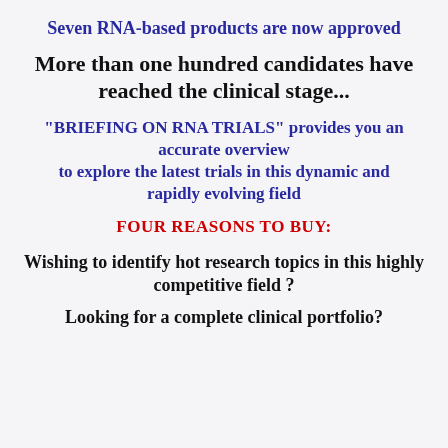Seven RNA-based products are now approved
More than one hundred candidates have reached the clinical stage...
“BRIEFING ON RNA TRIALS” provides you an accurate overview to explore the latest trials in this dynamic and rapidly evolving field
FOUR REASONS TO BUY:
Wishing to identify hot research topics in this highly competitive field ?
Looking for a complete clinical portfolio?